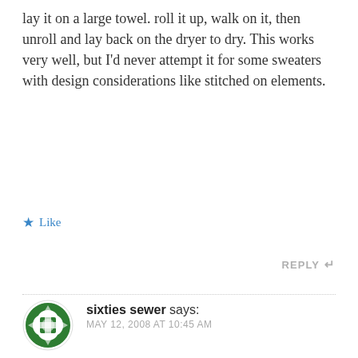lay it on a large towel. roll it up, walk on it, then unroll and lay back on the dryer to dry. This works very well, but I'd never attempt it for some sweaters with design considerations like stitched on elements.
★ Like
REPLY ↩
sixties sewer says:
MAY 12, 2008 AT 10:45 AM
I too love short sleeved cardis, as here in northern California it is never really warm on the coast. And if it is we complain.Erin, look at the article on Pattern Review called Refashioning Sweaters. It is very